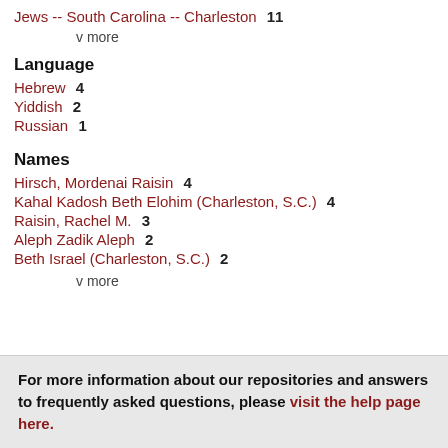Jews -- South Carolina -- Charleston  11
v more
Language
Hebrew  4
Yiddish  2
Russian  1
Names
Hirsch, Mordenai Raisin  4
Kahal Kadosh Beth Elohim (Charleston, S.C.)  4
Raisin, Rachel M.  3
Aleph Zadik Aleph  2
Beth Israel (Charleston, S.C.)  2
v more
For more information about our repositories and answers to frequently asked questions, please visit the help page here.